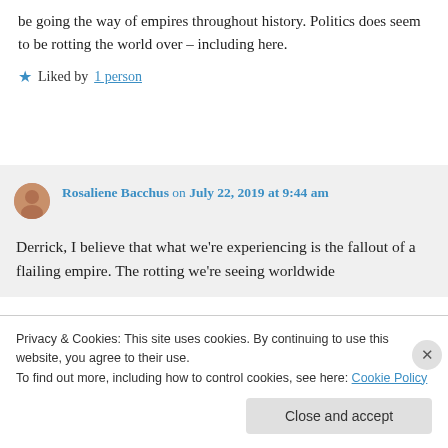be going the way of empires throughout history. Politics does seem to be rotting the world over – including here.
Liked by 1 person
Rosaliene Bacchus on July 22, 2019 at 9:44 am
Derrick, I believe that what we're experiencing is the fallout of a flailing empire. The rotting we're seeing worldwide
Privacy & Cookies: This site uses cookies. By continuing to use this website, you agree to their use. To find out more, including how to control cookies, see here: Cookie Policy
Close and accept